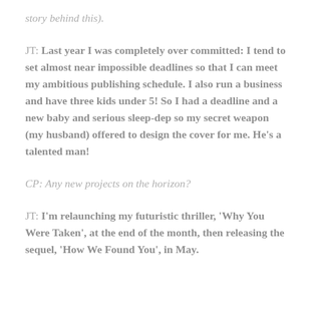story behind this).
JT: Last year I was completely over committed: I tend to set almost near impossible deadlines so that I can meet my ambitious publishing schedule. I also run a business and have three kids under 5! So I had a deadline and a new baby and serious sleep-dep so my secret weapon (my husband) offered to design the cover for me. He's a talented man!
CP: Any new projects on the horizon?
JT: I'm relaunching my futuristic thriller, 'Why You Were Taken', at the end of the month, then releasing the sequel, 'How We Found You', in May.